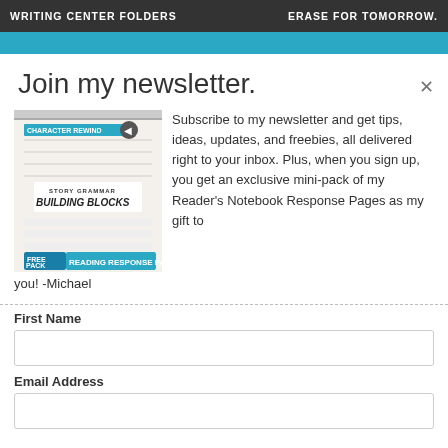WRITING CENTER FOLDERS    ERASE FOR TOMORROW.
Join my newsletter.
[Figure (illustration): Free Pack Reading Response Pages notebook workbook cover image]
Subscribe to my newsletter and get tips, ideas, updates, and freebies, all delivered right to your inbox. Plus, when you sign up, you get an exclusive mini-pack of my Reader's Notebook Response Pages as my gift to you! -Michael
First Name
Email Address